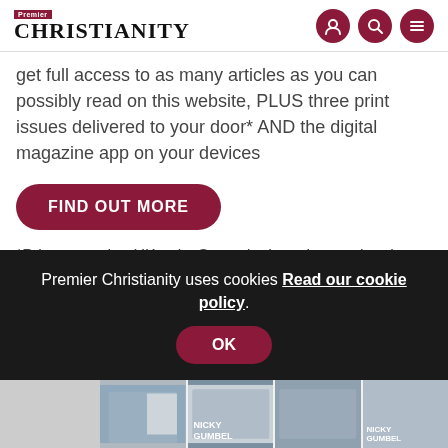Premier Christianity
get full access to as many articles as you can possibly read on this website, PLUS three print issues delivered to your door* AND the digital magazine app on your devices
FIND OUT MORE
*Print magazine UK only. Great deals on international subscriptions also available
Premier Christianity uses cookies Read our cookie policy. OK
[Figure (photo): Bottom strip showing images of Nicky Gumbel books and person]